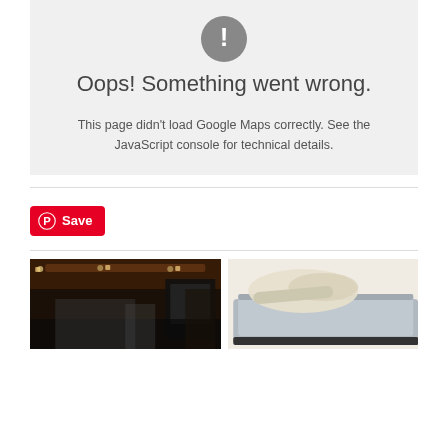[Figure (screenshot): Google Maps error box with gray background, exclamation icon, title 'Oops! Something went wrong.' and error message text]
Oops! Something went wrong.
This page didn't load Google Maps correctly. See the JavaScript console for technical details.
[Figure (other): Pinterest Save button in red with Pinterest logo icon]
[Figure (photo): Interior of a gym or industrial space with dark ceiling, exposed beams, large windows, and exercise equipment]
[Figure (photo): A mattress with cream/white bedding on a silver/gray bed frame against a white background]